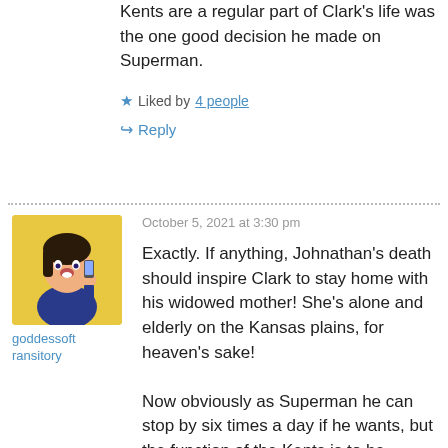Kents are a regular part of Clark's life  was the one good decision he made on Superman.
Liked by 4 people
Reply
October 5, 2021 at 3:30 pm
[Figure (illustration): Anime-style avatar illustration of a girl with dark hair, blue shirt, on yellow background]
goddessoft ransitory
Exactly. If anything, Johnathan's death should inspire Clark to stay home with his widowed mother! She's alone and elderly on the Kansas plains, for heaven's sake!
Now obviously as Superman he can stop by six times a day if he wants, but the function of the Kents is to be